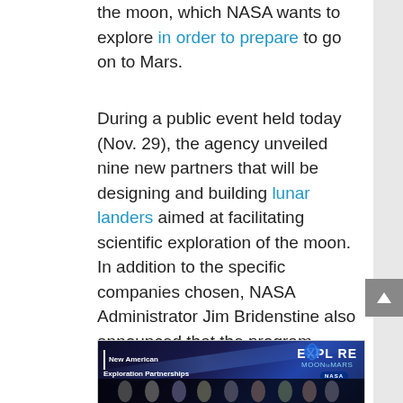the moon, which NASA wants to explore in order to prepare to go on to Mars.
During a public event held today (Nov. 29), the agency unveiled nine new partners that will be designing and building lunar landers aimed at facilitating scientific exploration of the moon. In addition to the specific companies chosen, NASA Administrator Jim Bridenstine also announced that the program running those contracts — the Commercial Lunar Payload Services program — is now part of the science section of NASA's bureaucracy, not the human exploration section. — Space.com
[Figure (photo): NASA 'Explore Moon to Mars' promotional image showing 'New American Exploration Partnerships' with a group of people and NASA branding]